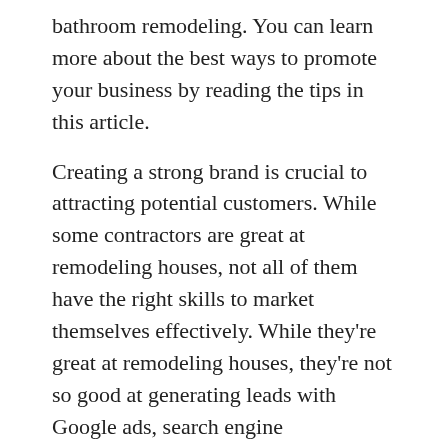bathroom remodeling. You can learn more about the best ways to promote your business by reading the tips in this article.
Creating a strong brand is crucial to attracting potential customers. While some contractors are great at remodeling houses, not all of them have the right skills to market themselves effectively. While they're great at remodeling houses, they're not so good at generating leads with Google ads, search engine optimization, and automated email marketing. Make sure your brand reflects this skill. If your customers are happy with your work, they'll be more likely to refer you to their friends and family.
Keywords